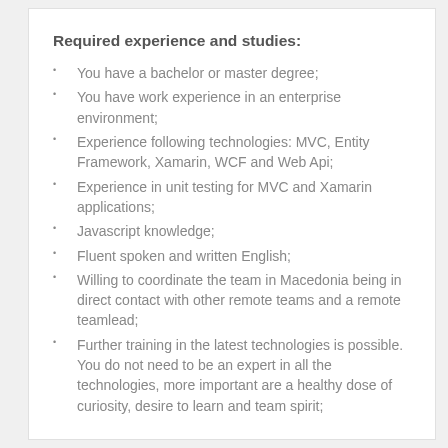Required experience and studies:
You have a bachelor or master degree;
You have work experience in an enterprise environment;
Experience following technologies: MVC, Entity Framework, Xamarin, WCF and Web Api;
Experience in unit testing for MVC and Xamarin applications;
Javascript knowledge;
Fluent spoken and written English;
Willing to coordinate the team in Macedonia being in direct contact with other remote teams and a remote teamlead;
Further training in the latest technologies is possible. You do not need to be an expert in all the technologies, more important are a healthy dose of curiosity, desire to learn and team spirit;